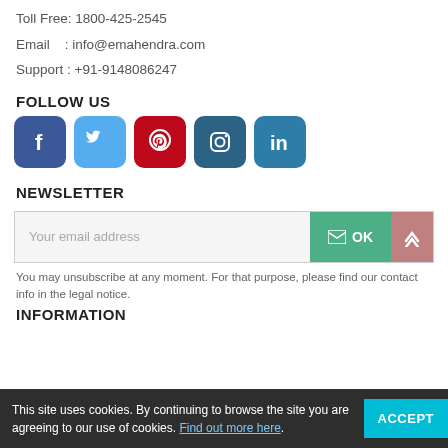Toll Free:  1800-425-2545
Email    : info@emahendra.com
Support : +91-9148086247
FOLLOW US
[Figure (other): Social media icons: Facebook, Twitter, Pinterest, Instagram, LinkedIn]
NEWSLETTER
[Figure (other): Newsletter email input field with OK button and scroll-up button]
You may unsubscribe at any moment. For that purpose, please find our contact info in the legal notice.
This site uses cookies. By continuing to browse the site you are agreeing to our use of cookies. Find out more here.
INFORMATION